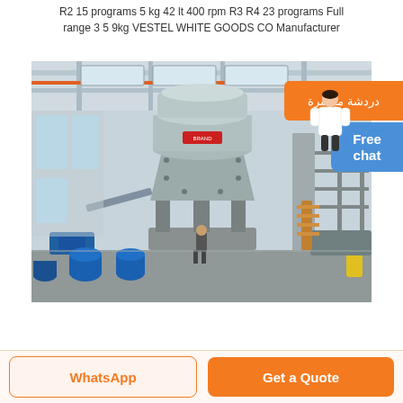R2 15 programs 5 kg 42 lt 400 rpm R3 R4 23 programs Full range 3 5 9kg VESTEL WHITE GOODS CO Manufacturer
[Figure (photo): Industrial factory floor with a large grey vertical shaft impact crusher or industrial machine in the center, surrounded by blue equipment and workers, inside a large warehouse with skylights.]
دردشة مباشرة
Free chat
WhatsApp
Get a Quote